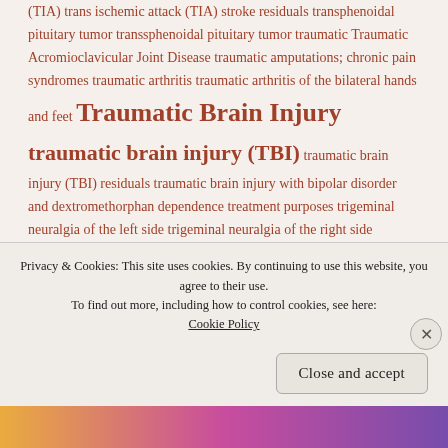(TIA) trans ischemic attack (TIA) stroke residuals transphenoidal pituitary tumor transsphenoidal pituitary tumor traumatic Traumatic Acromioclavicular Joint Disease traumatic amputations; chronic pain syndromes traumatic arthritis traumatic arthritis of the bilateral hands and feet Traumatic Brain Injury traumatic brain injury (TBI) traumatic brain injury (TBI) residuals traumatic brain injury with bipolar disorder and dextromethorphan dependence treatment purposes trigeminal neuralgia of the left side trigeminal neuralgia of the right side trochanteric bursitis Tuition and Fees tumor on the spinal cord (C5 schwannoma) tumor resection type 2 type 2 diabetes mellitus
Privacy & Cookies: This site uses cookies. By continuing to use this website, you agree to their use. To find out more, including how to control cookies, see here: Cookie Policy